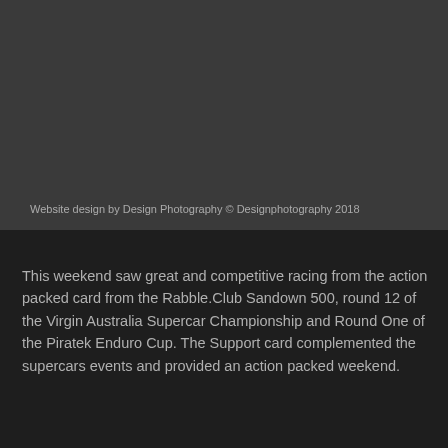Website design by Design Photography © Designphotography 2018
This weekend saw great and competitive racing from the action packed card from the Rabble.Club Sandown 500, round 12 of the Virgin Australia Supercar Championship and Round One of the Piratek Enduro Cup. The Support card complemented the supercars events and provided an action packed weekend.